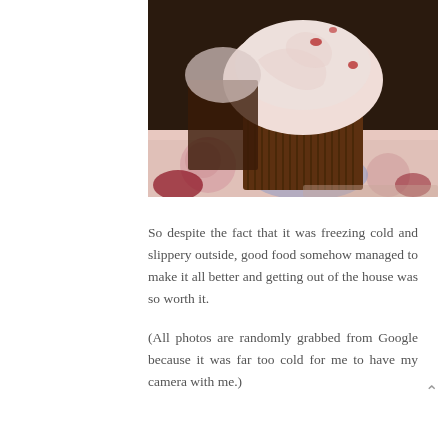[Figure (photo): Close-up photograph of a chocolate cupcake with pink/white frosting on top, sitting on a floral patterned surface. Another cupcake is partially visible in the background.]
So despite the fact that it was freezing cold and slippery outside, good food somehow managed to make it all better and getting out of the house was so worth it.
(All photos are randomly grabbed from Google because it was far too cold for me to have my camera with me.)